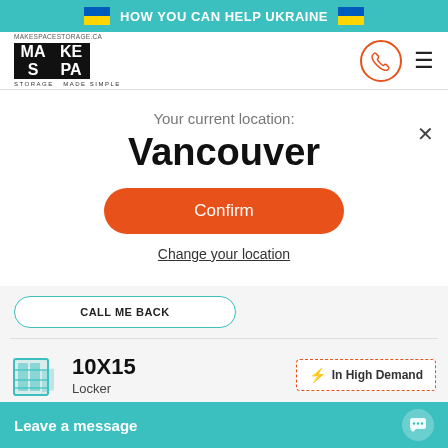HOW YOU CAN HELP UKRAINE
[Figure (logo): MakeSpaceStorage.ca logo with MAKE SPACE text in black grid squares and tagline STORAGE MADE SIMPLE]
Your current location:
Vancouver
Confirm
Change your location
CALL ME BACK
10X15
Locker
In High Demand
CALL ME BACK
Leave a message